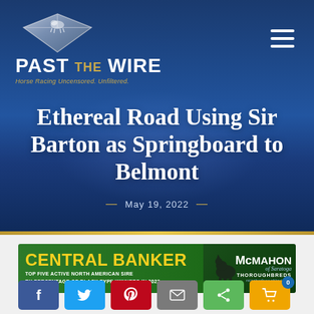[Figure (logo): Past the Wire logo with diamond shape and horse silhouette, tagline: Horse Racing Uncensored. Unfiltered.]
Ethereal Road Using Sir Barton as Springboard to Belmont
— May 19, 2022 —
[Figure (photo): Central Banker advertisement banner: TOP FIVE ACTIVE NORTH AMERICAN SIRE BY PERCENTAGE OF BLACK TYPE WINNERS IN 2022 - McMahon of Saratoga Thoroughbreds]
[Figure (other): Social media share buttons: Facebook, Twitter, Pinterest, Email, Share, and cart icon with badge showing 0]